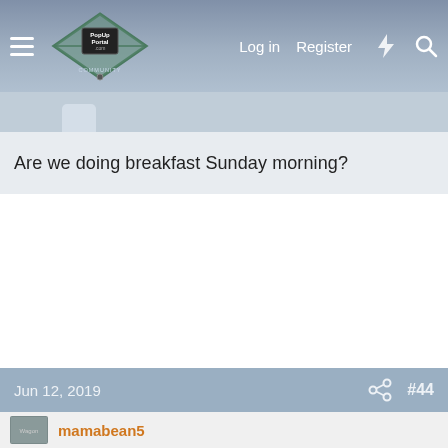PopUpPortal.com — Log in | Register
Are we doing breakfast Sunday morning?
Jun 12, 2019  #44
mamabean5